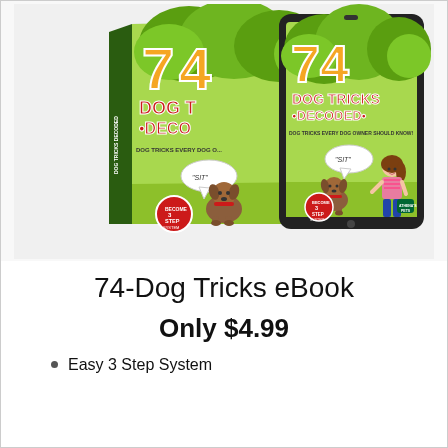[Figure (illustration): Product image showing '74 Dog Tricks Decoded' book and tablet/ebook version side by side. Both show a cartoon brown dog sitting and a girl standing, with a speech bubble saying 'SIT'. Book cover shows green trees background, orange '74' title, red 'DOG TRICKS DECODED' text, subtitle 'DOG TRICKS EVERY DOG OWNER SHOULD KNOW', and a '3 STEP' badge. Athena's Pets logo visible on tablet.]
74-Dog Tricks eBook
Only $4.99
Easy 3 Step System